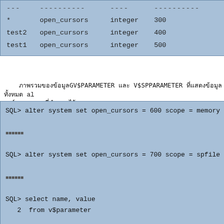| col1 | col2 | col3 | col4 |
| --- | --- | --- | --- |
| --- | ---------- | ---- | ---------- |
| * | open_cursors | integer | 300 |
| test2 | open_cursors | integer | 400 |
| test1 | open_cursors | integer | 500 |
ภาพรวมของข้อมูลGV$PARAMETER และ V$SPPARAMETER ที่แสดงข้อมูลทั้งหมด ab ของ memory ที่กำหนดไว้
SQL> alter system set open_cursors = 600 scope = memory sid
สำเร็จ

SQL> alter system set open_cursors = 700 scope = spfile sid
สำเร็จ

SQL> select name, value
   2  from v$parameter
   3  where name = 'open_cursors';

NAME                      VALUE

----------  ------------------